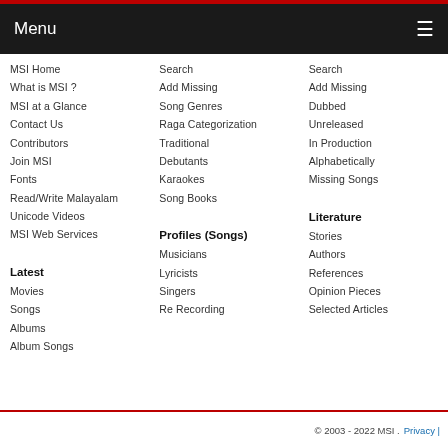Menu
MSI Home
What is MSI ?
MSI at a Glance
Contact Us
Contributors
Join MSI
Fonts
Read/Write Malayalam
Unicode Videos
MSI Web Services
Latest
Movies
Songs
Albums
Album Songs
Search
Add Missing
Song Genres
Raga Categorization
Traditional
Debutants
Karaokes
Song Books
Profiles (Songs)
Musicians
Lyricists
Singers
Re Recording
Search
Add Missing
Dubbed
Unreleased
In Production
Alphabetically
Missing Songs
Literature
Stories
Authors
References
Opinion Pieces
Selected Articles
© 2003 - 2022 MSI .  Privacy |